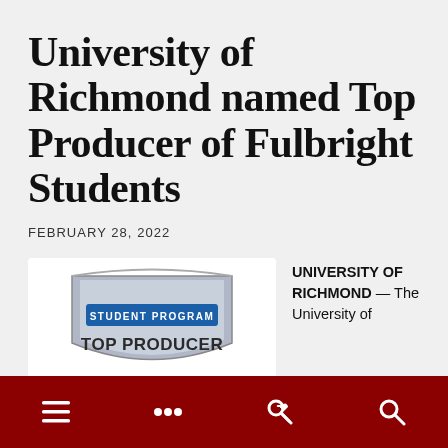University of Richmond named Top Producer of Fulbright Students
FEBRUARY 28, 2022
[Figure (logo): Fulbright Student Program Top Producer badge/seal — a shield-shaped metallic emblem with blue banner reading 'STUDENT PROGRAM' and bold text 'TOP PRODUCER']
UNIVERSITY OF RICHMOND — The University of